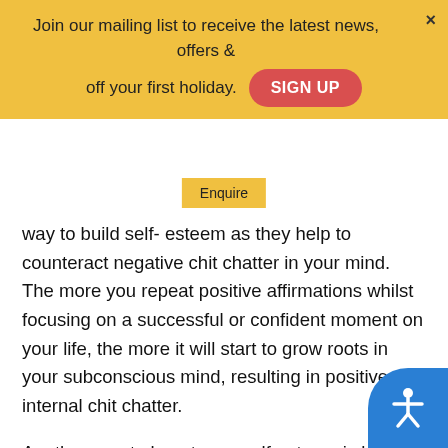Join our mailing list to receive the latest news, offers & off your first holiday.
SIGN UP
Enquire
way to build self- esteem as they help to counteract negative chit chatter in your mind. The more you repeat positive affirmations whilst focusing on a successful or confident moment on your life, the more it will start to grow roots in your subconscious mind, resulting in positive internal chit chatter.
Another way to boost your self-esteem is by stepping out of your comfort zone and doing things you have never done before. At first these things may seem a little frightening, but the more you do it, the more comfortable you will start to feel in unfamiliar circumstances and the more confident you will become. If you are a very nervous person, then start with small things, such as saying good morning to a stranger, or paying someone a small compliment. The more